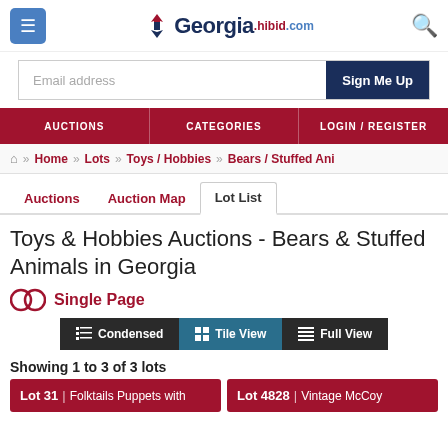Georgia.hibid.com
Email address  Sign Me Up
AUCTIONS  CATEGORIES  LOGIN / REGISTER
Home » Lots » Toys / Hobbies » Bears / Stuffed Ani
Auctions  Auction Map  Lot List
Toys & Hobbies Auctions - Bears & Stuffed Animals in Georgia
Single Page
Condensed  Tile View  Full View
Showing 1 to 3 of 3 lots
Lot 31 | Folktails Puppets with
Lot 4828 | Vintage McCoy